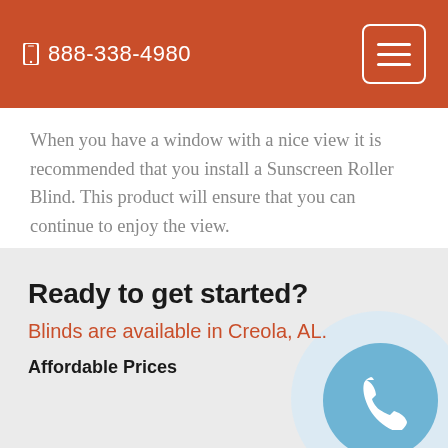888-338-4980
When you have a window with a nice view it is recommended that you install a Sunscreen Roller Blind. This product will ensure that you can continue to enjoy the view.
Ready to get started?
Blinds are available in Creola, AL.
Affordable Prices